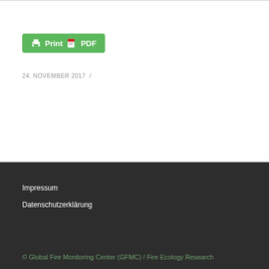[Figure (other): Green Print / PDF button with printer icon and PDF icon]
24. NOVEMBER 2017 /
Impressum
Datenschutzerklärung
© Global Fire Monitoring Center (GFMC) / Fire Ecology Research